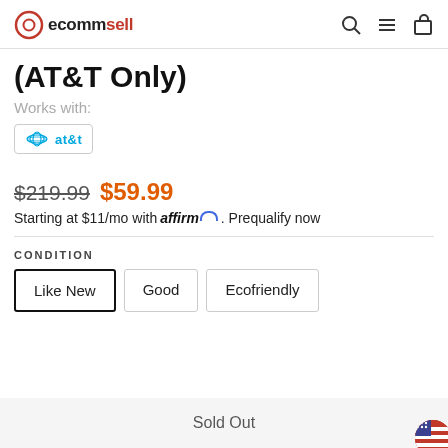ecommsell
(AT&T Only)
Works with:
at&t
$219.99  $59.99
Starting at $11/mo with affirm. Prequalify now
CONDITION
Like New
Good
Ecofriendly
Sold Out